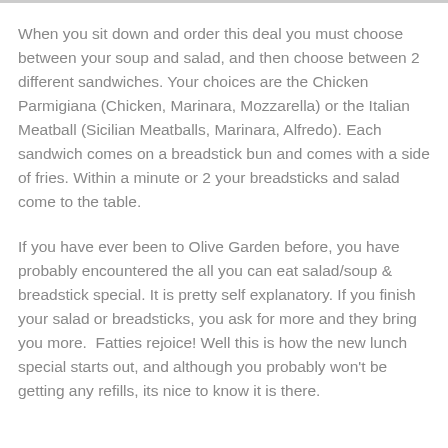When you sit down and order this deal you must choose between your soup and salad, and then choose between 2 different sandwiches. Your choices are the Chicken Parmigiana (Chicken, Marinara, Mozzarella) or the Italian Meatball (Sicilian Meatballs, Marinara, Alfredo). Each sandwich comes on a breadstick bun and comes with a side of fries. Within a minute or 2 your breadsticks and salad come to the table.
If you have ever been to Olive Garden before, you have probably encountered the all you can eat salad/soup & breadstick special. It is pretty self explanatory. If you finish your salad or breadsticks, you ask for more and they bring you more.  Fatties rejoice! Well this is how the new lunch special starts out, and although you probably won't be getting any refills, its nice to know it is there.